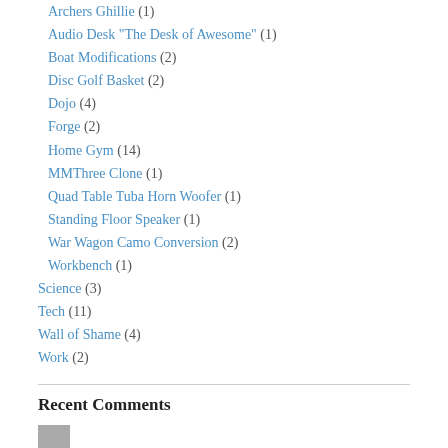Archers Ghillie (1)
Audio Desk "The Desk of Awesome" (1)
Boat Modifications (2)
Disc Golf Basket (2)
Dojo (4)
Forge (2)
Home Gym (14)
MMThree Clone (1)
Quad Table Tuba Horn Woofer (1)
Standing Floor Speaker (1)
War Wagon Camo Conversion (2)
Workbench (1)
Science (3)
Tech (11)
Wall of Shame (4)
Work (2)
Recent Comments